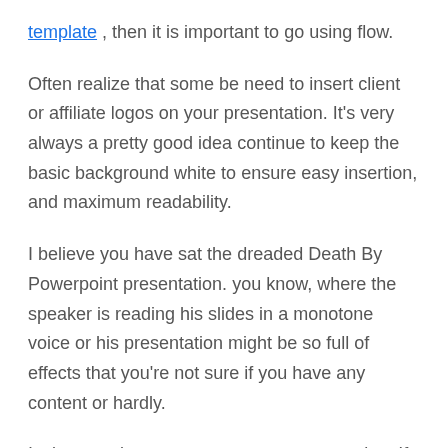template , then it is important to go using flow.
Often realize that some be need to insert client or affiliate logos on your presentation. It's very always a pretty good idea continue to keep the basic background white to ensure easy insertion, and maximum readability.
I believe you have sat the dreaded Death By Powerpoint presentation. you know, where the speaker is reading his slides in a monotone voice or his presentation might be so full of effects that you're not sure if you have any content or hardly.
Invite questions at no more your presentation. If appropriate, have a slide designating a period for a matter and answer period browse the of your presentation. With no extra a quarter-hour you are administered at the end of your presentation, you fully understand to answer all your participants' questions without feeling rushed.